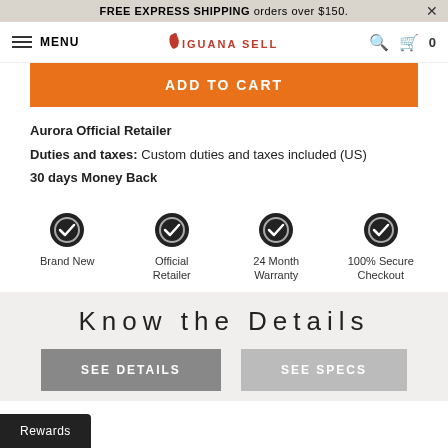FREE EXPRESS SHIPPING orders over $150.
MENU | IGUANA SELL | 🔍 | 🛒 0
ADD TO CART
Aurora Official Retailer
Duties and taxes: Custom duties and taxes included (US)
30 days Money Back
[Figure (infographic): Four trust icons in a row: Brand New, Official Retailer, 24 Month Warranty, 100% Secure Checkout]
Know the Details
SEE DETAILS
SEE SPECS
Rewards